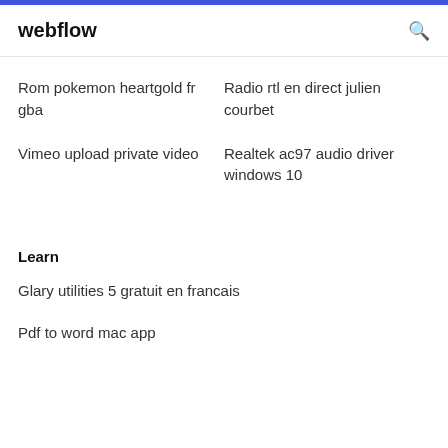webflow
Rom pokemon heartgold fr gba
Radio rtl en direct julien courbet
Vimeo upload private video
Realtek ac97 audio driver windows 10
Learn
Glary utilities 5 gratuit en francais
Pdf to word mac app